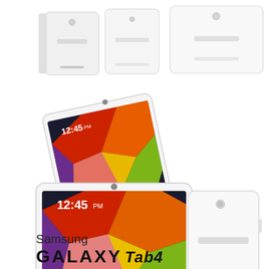[Figure (photo): Samsung Galaxy Tab 4 tablets shown from multiple angles - top row shows back and side views of white tablets]
[Figure (photo): Samsung Galaxy Tab 4 tablet shown at an angle with colorful geometric lock screen visible]
[Figure (photo): Large Samsung Galaxy Tab 4 tablet (front view showing colorful screen with 12:45 time) alongside back view of white tablet]
Samsung
GALAXY Tab4